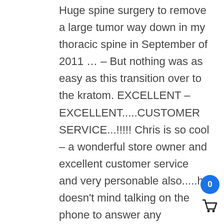Huge spine surgery to remove a large tumor way down in my thoracic spine in September of 2011 … – But nothing was as easy as this transition over to the kratom. EXCELLENT – EXCELLENT.....CUSTOMER SERVICE...!!!!! Chris is so cool – a wonderful store owner and excellent customer service and very personable also.....he doesn't mind talking on the phone to answer any questions you may have about the product – and super fast shipping – I will only buy from here now